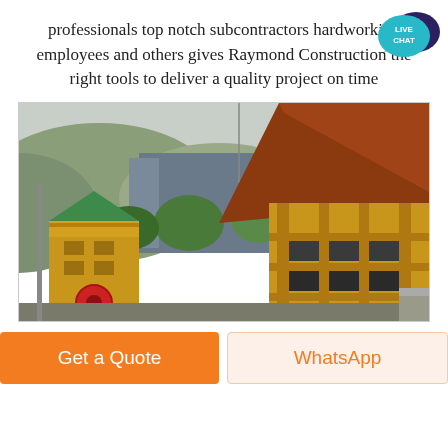professionals top notch subcontractors hardworking employees and others gives Raymond Construction the right tools to deliver a quality project on time
[Figure (photo): Construction site photo showing yellow industrial structure, a green-roofed watchtower, large diagonal conveyor or roof structure, trees and hills in the background, overcast sky.]
Get a Quote
WhatsApp